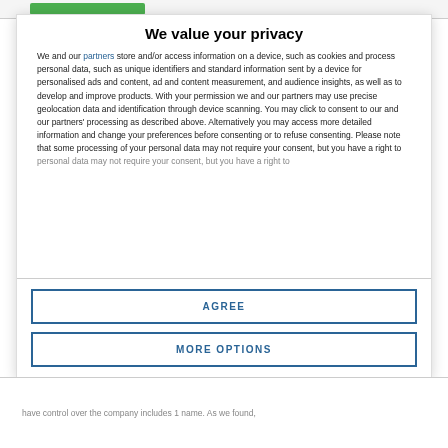We value your privacy
We and our partners store and/or access information on a device, such as cookies and process personal data, such as unique identifiers and standard information sent by a device for personalised ads and content, ad and content measurement, and audience insights, as well as to develop and improve products. With your permission we and our partners may use precise geolocation data and identification through device scanning. You may click to consent to our and our partners' processing as described above. Alternatively you may access more detailed information and change your preferences before consenting or to refuse consenting. Please note that some processing of your personal data may not require your consent, but you have a right to
AGREE
MORE OPTIONS
have control over the company includes 1 name. As we found,